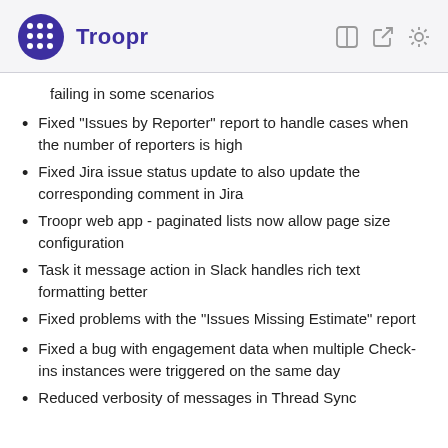Troopr
failing in some scenarios
Fixed "Issues by Reporter" report to handle cases when the number of reporters is high
Fixed Jira issue status update to also update the corresponding comment in Jira
Troopr web app - paginated lists now allow page size configuration
Task it message action in Slack handles rich text formatting better
Fixed problems with the "Issues Missing Estimate" report
Fixed a bug with engagement data when multiple Check-ins instances were triggered on the same day
Reduced verbosity of messages in Thread Sync